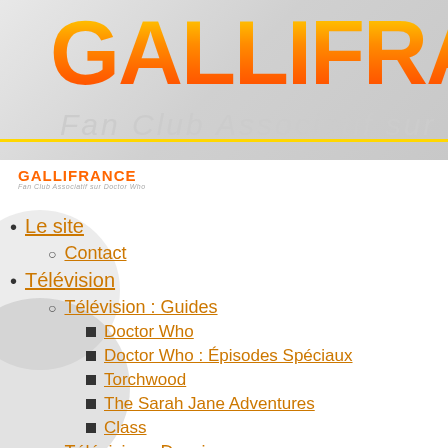GALLIFRAN (truncated) — Fan Club Associatif sur Do (truncated)
[Figure (logo): GALLIFRANCE logo small with subtitle Fan Club Associatif sur Doctor Who]
Le site
Contact
Télévision
Télévision : Guides
Doctor Who
Doctor Who : Épisodes Spéciaux
Torchwood
The Sarah Jane Adventures
Class
Télévision : Dossiers
Fandom
f (Facebook icon)